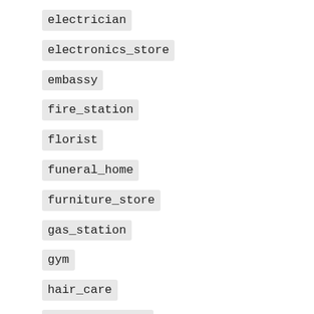electrician
electronics_store
embassy
fire_station
florist
funeral_home
furniture_store
gas_station
gym
hair_care
hardware_store
hindu_temple
home_goods_store